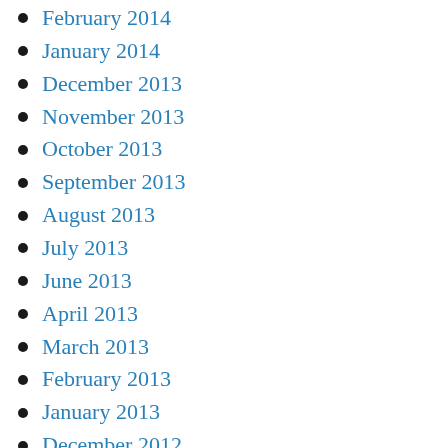February 2014
January 2014
December 2013
November 2013
October 2013
September 2013
August 2013
July 2013
June 2013
April 2013
March 2013
February 2013
January 2013
December 2012
October 2012
September 2012